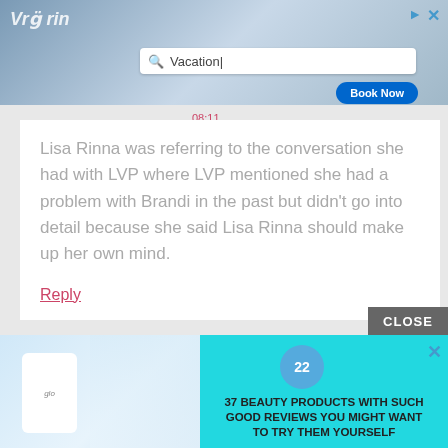[Figure (screenshot): Top advertisement banner showing a hotel/vacation booking ad with search field containing 'Vacation' and a 'Book Now' button]
Lisa Rinna was referring to the conversation she had with LVP where LVP mentioned she had a problem with Brandi in the past but didn't go into detail because she said Lisa Rinna should make up her own mind.
Reply
[Figure (screenshot): Bottom advertisement showing '37 BEAUTY PRODUCTS WITH SUCH GOOD REVIEWS YOU MIGHT WANT TO TRY THEM YOURSELF' with beauty product imagery and a teal background, with a CLOSE button]